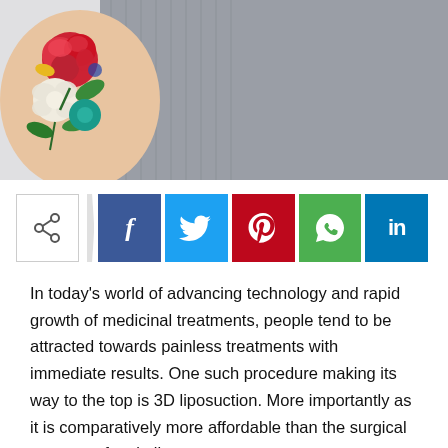[Figure (photo): Photo of a person's tattooed arm wearing a grey sweater, showing colorful floral tattoos]
[Figure (infographic): Social media share buttons: share icon, Facebook (f), Twitter (bird), Pinterest (p), WhatsApp (phone), LinkedIn (in)]
In today’s world of advancing technology and rapid growth of medicinal treatments, people tend to be attracted towards painless treatments with immediate results. One such procedure making its way to the top is 3D liposuction. More importantly as it is comparatively more affordable than the surgical treatment for similar purposes.
It is a non-surgical fat reduction procedure which works by destroying localized fat cells in the body.